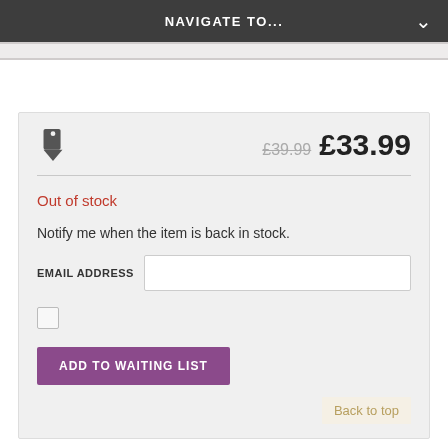NAVIGATE TO...
£39.99  £33.99
Out of stock
Notify me when the item is back in stock.
EMAIL ADDRESS
ADD TO WAITING LIST
Back to top